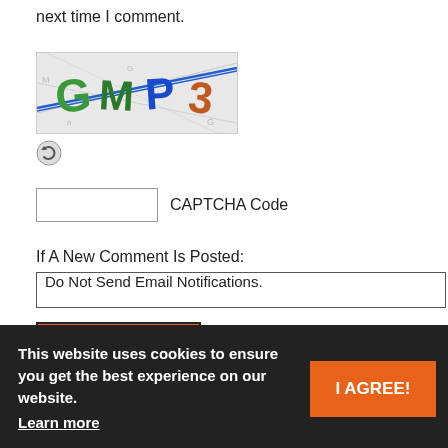next time I comment.
[Figure (other): CAPTCHA image showing distorted text 'GMP3' with colorful letters on a noisy background]
[Figure (other): Refresh/reload icon (circular arrows) for CAPTCHA refresh]
CAPTCHA Code
If A New Comment Is Posted:
Do Not Send Email Notifications.
Send Comment
[Figure (other): Gray avatar/profile silhouette icon]
sunil • April 27, 2015 at 3:15 PM
This website uses cookies to ensure you get the best experience on our website.
Learn more
I AGREE!